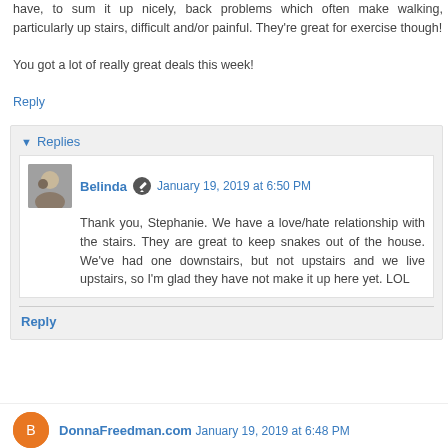have, to sum it up nicely, back problems which often make walking, particularly up stairs, difficult and/or painful. They're great for exercise though!
You got a lot of really great deals this week!
Reply
Replies
Belinda  January 19, 2019 at 6:50 PM
Thank you, Stephanie. We have a love/hate relationship with the stairs. They are great to keep snakes out of the house. We've had one downstairs, but not upstairs and we live upstairs, so I'm glad they have not make it up here yet. LOL
Reply
DonnaFreedman.com  January 19, 2019 at 6:48 PM